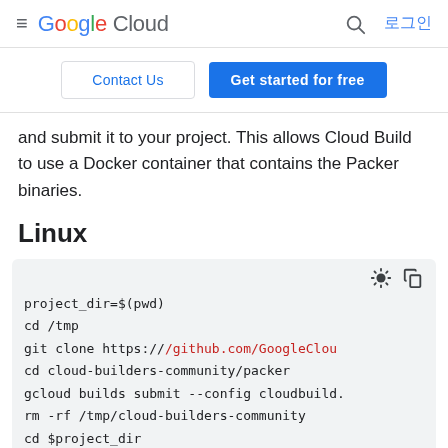Google Cloud | 로그인
Contact Us | Get started for free
and submit it to your project. This allows Cloud Build to use a Docker container that contains the Packer binaries.
Linux
[Figure (screenshot): Code block with shell commands: project_dir=$(pwd), cd /tmp, git clone https://github.com/GoogleClou..., cd cloud-builders-community/packer, gcloud builds submit --config cloudbuild..., rm -rf /tmp/cloud-builders-community, cd $project_dir]